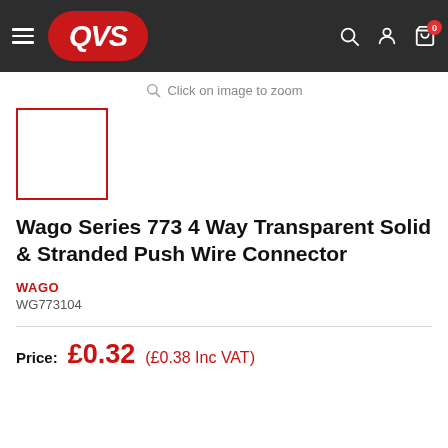QVS navigation bar with logo, search, account, and cart icons
Click on image to zoom
[Figure (other): Product thumbnail placeholder with red border, empty white box]
Wago Series 773 4 Way Transparent Solid & Stranded Push Wire Connector
WAGO
WG773104
Price: £0.32 (£0.38 Inc VAT)